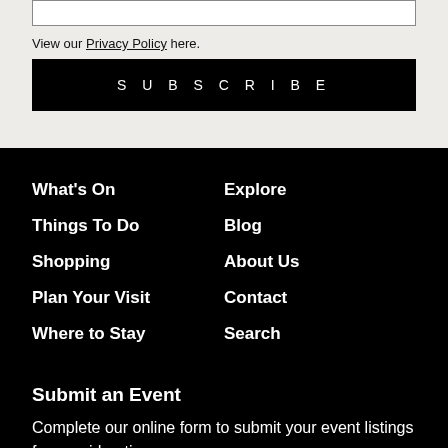View our Privacy Policy here.
SUBSCRIBE
What's On
Things To Do
Shopping
Plan Your Visit
Where to Stay
Explore
Blog
About Us
Contact
Search
Submit an Event
Complete our online form to submit your event listings for consideration.
SUBMIT